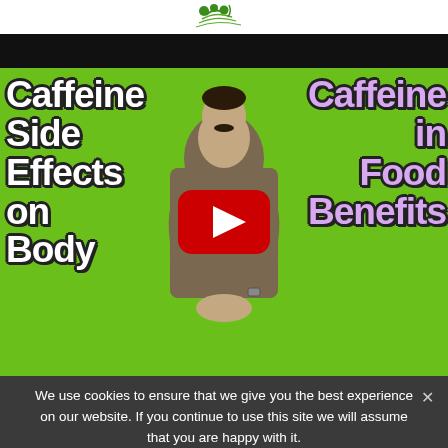[Figure (screenshot): Website header with logo (plant/herb icon with text) on white strip above a black navigation bar]
[Figure (screenshot): YouTube video thumbnail on a green background showing a man in a brown shirt with white bold text on the left reading 'Caffeine Side Effects on Body' and purple bold text on the right reading 'Caffeine in Food Benefits', with a YouTube play button overlay in the center]
We use cookies to ensure that we give you the best experience on our website. If you continue to use this site we will assume that you are happy with it.
[Figure (screenshot): Dark cookie consent bar at the bottom with text and a teal 'Ok' button and an X close button]